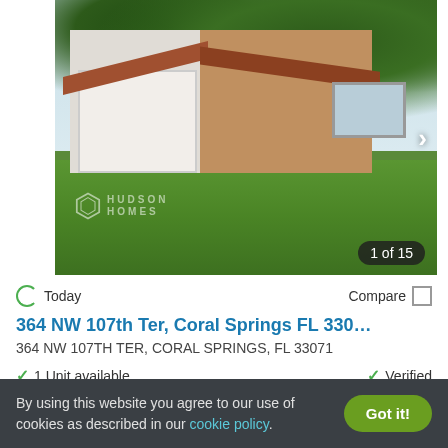[Figure (photo): Exterior photo of a single-story brick ranch home with white garage door and green lawn, watermarked with Hudson Homes logo, showing '1 of 15' photo counter]
Today   Compare
364 NW 107th Ter, Coral Springs FL 330...
364 NW 107TH TER, CORAL SPRINGS, FL 33071
1 Unit available   Verified
4 BEDS
$4,499
By using this website you agree to our use of cookies as described in our cookie policy.